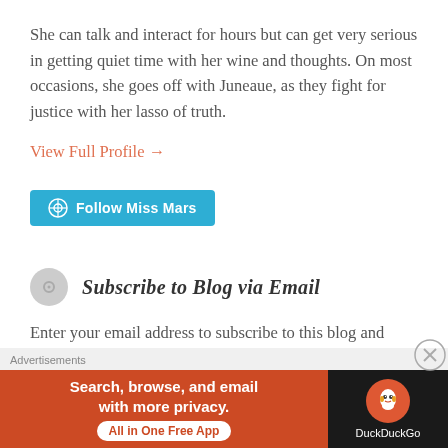She can talk and interact for hours but can get very serious in getting quiet time with her wine and thoughts. On most occasions, she goes off with Juneaue, as they fight for justice with her lasso of truth.
View Full Profile →
[Figure (other): Blue 'Follow Miss Mars' button with WordPress logo icon]
Subscribe to Blog via Email
Enter your email address to subscribe to this blog and receive notifications of new posts by email.
Email Address
[Figure (other): DuckDuckGo advertisement banner: orange left section with text 'Search, browse, and email with more privacy. All in One Free App' and dark right section with DuckDuckGo logo and name. 'Advertisements' label above.]